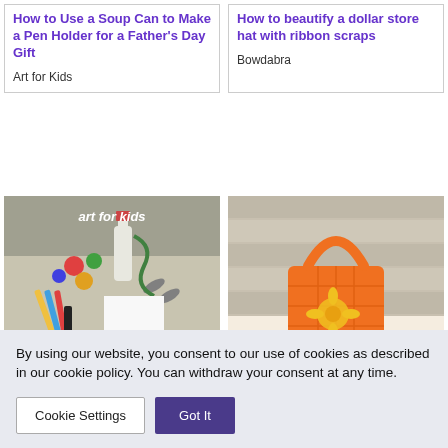How to Use a Soup Can to Make a Pen Holder for a Father's Day Gift
Art for Kids
How to beautify a dollar store hat with ribbon scraps
Bowdabra
[Figure (photo): Art for kids craft supplies photo with text overlay 'art for kids']
[Figure (photo): Orange decorative basket with yellow ribbon on wooden background]
By using our website, you consent to our use of cookies as described in our cookie policy. You can withdraw your consent at any time.
Cookie Settings
Got It